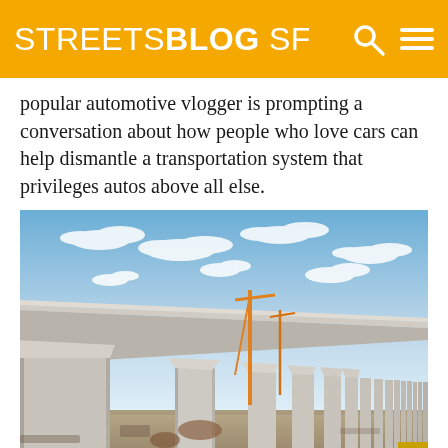STREETSBLOG SF
popular automotive vlogger is prompting a conversation about how people who love cars can help dismantle a transportation system that privileges autos above all else.
[Figure (photo): Elevated concrete viaduct structure under construction against a blue sky with scattered clouds, viewed from ground level looking along the length of the structure showing multiple concrete columns receding into the distance. Construction cranes visible in the background.]